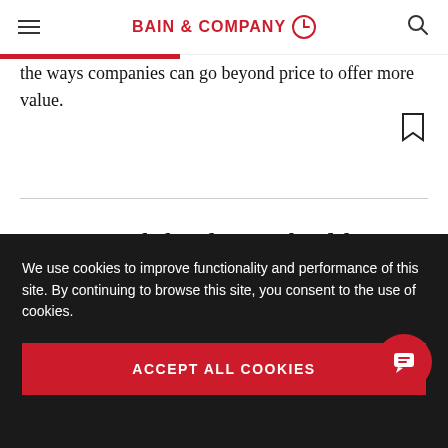BAIN & COMPANY
the ways companies can go beyond price to offer more value.
Orica used the data to build pre-blast modeling and post-blast measurement and analysis, packaged in a user-friendly online system called
We use cookies to improve functionality and performance of this site. By continuing to browse this site, you consent to the use of cookies.
ACCEPT ALL COOKIES